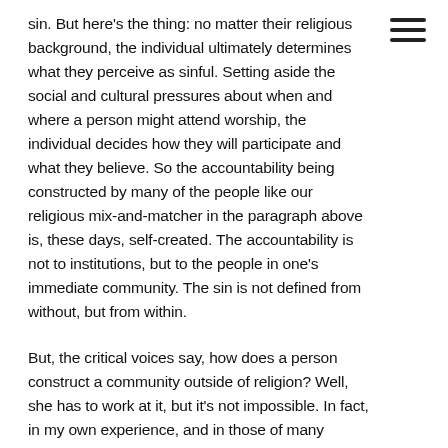sin. But here's the thing: no matter their religious background, the individual ultimately determines what they perceive as sinful. Setting aside the social and cultural pressures about when and where a person might attend worship, the individual decides how they will participate and what they believe. So the accountability being constructed by many of the people like our religious mix-and-matcher in the paragraph above is, these days, self-created. The accountability is not to institutions, but to the people in one's immediate community. The sin is not defined from without, but from within.
But, the critical voices say, how does a person construct a community outside of religion? Well, she has to work at it, but it's not impossible. In fact, in my own experience, and in those of many people I interviewed, it is harder to create community in a religion than it is to do so outside of religion. The trenchant resistance to change and evolution exhibited by religions, which feel like they're being set upon